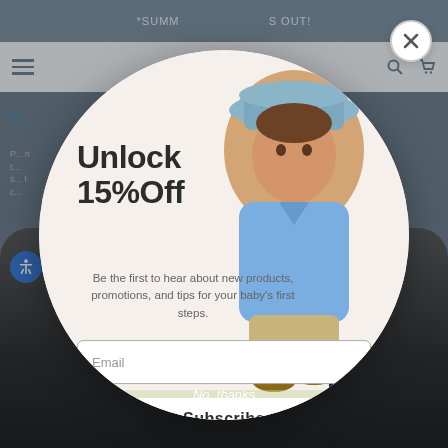[Figure (screenshot): Website screenshot showing a modal popup dialog on a children's shoe retailer website. The background shows a navigation bar with hamburger menu and icons, a blue promotional banner text '*SUMM... ...S OUT!', and a dark shoe product image at the bottom. In the foreground is a large circular modal popup with a light beige background containing a photo of a toddler boy wearing a blue hat and denim shirt. The modal contains a '15% Off' unlock offer, an email input field, a Subscribe button, and a 'No, thanks' link. A close (X) button appears in the top right corner.]
Unlock
15%Off
Be the first to hear about new products, promotions, and tips for your baby's first steps.
Email
Subscribe
No, thanks